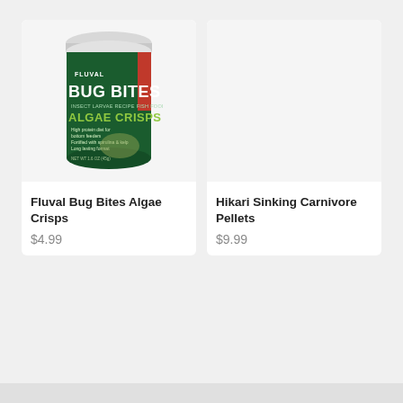[Figure (photo): Fluval Bug Bites Algae Crisps product container — cylindrical canister with dark green label, white lid, text reads FLUVAL BUG BITES ALGAE CRISPS]
Fluval Bug Bites Algae Crisps
$4.99
[Figure (photo): Hikari Sinking Carnivore Pellets product — empty/placeholder image on light gray background]
Hikari Sinking Carnivore Pellets
$9.99